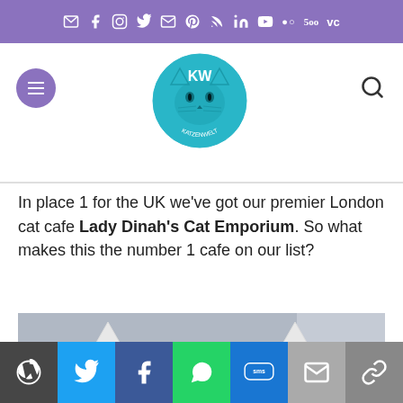Social media icon bar (email, facebook, instagram, twitter, email, pinterest, rss, linkedin, youtube, 500px, vk)
[Figure (logo): Katzenwelt logo - circular badge with cat face illustration and text KATZENWELT]
In place 1 for the UK we've got our premier London cat cafe Lady Dinah's Cat Emporium. So what makes this the number 1 cafe on our list?
[Figure (photo): A cat sleeping curled up inside a white ceramic cat-shaped pod/bed with ears, photographed from outside through a window]
Share buttons: WordPress, Twitter, Facebook, WhatsApp, SMS, Email, Copy link